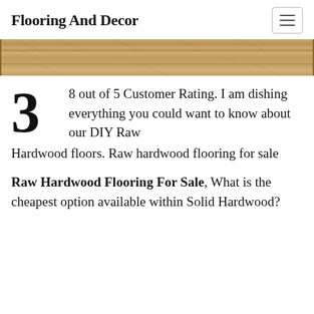Flooring And Decor
[Figure (photo): Close-up photo of light brown wood grain flooring planks]
3 8 out of 5 Customer Rating. I am dishing everything you could want to know about our DIY Raw Hardwood floors. Raw hardwood flooring for sale
Raw Hardwood Flooring For Sale, What is the cheapest option available within Solid Hardwood?